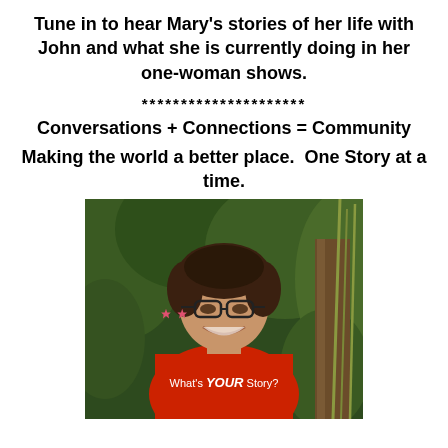Tune in to hear Mary's stories of her life with John and what she is currently doing in her one-woman shows.
********************
Conversations + Connections = Community
Making the world a better place.  One Story at a time.
[Figure (photo): A smiling woman with short dark hair and glasses, wearing a red t-shirt that reads "What's YOUR Story?" standing outdoors in front of green foliage and a tree trunk.]